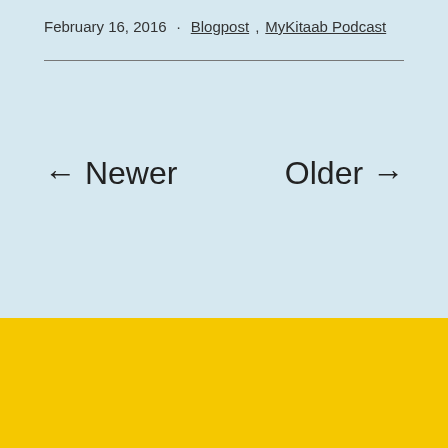February 16, 2016 · Blogpost, MyKitaab Podcast
← Newer
Older →
MyKitaab Podcast
Web Hosting
VPS Review
CMS
Images
Linux and Open Source
Travel